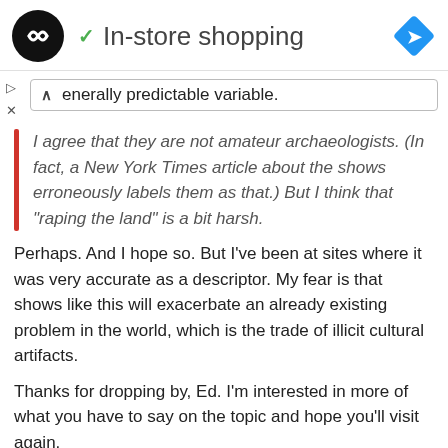In-store shopping
enerally predictable variable.
I agree that they are not amateur archaeologists. (In fact, a New York Times article about the shows erroneously labels them as that.) But I think that “raping the land” is a bit harsh.
Perhaps. And I hope so. But I’ve been at sites where it was very accurate as a descriptor. My fear is that shows like this will exacerbate an already existing problem in the world, which is the trade of illicit cultural artifacts.
Thanks for dropping by, Ed. I’m interested in more of what you have to say on the topic and hope you’ll visit again.
LOG IN TO REPLY